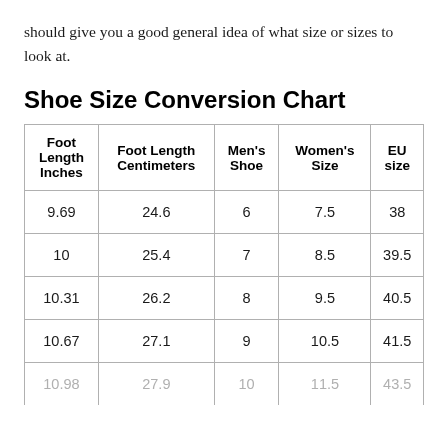should give you a good general idea of what size or sizes to look at.
Shoe Size Conversion Chart
| Foot Length Inches | Foot Length Centimeters | Men's Shoe | Women's Size | EU size |
| --- | --- | --- | --- | --- |
| 9.69 | 24.6 | 6 | 7.5 | 38 |
| 10 | 25.4 | 7 | 8.5 | 39.5 |
| 10.31 | 26.2 | 8 | 9.5 | 40.5 |
| 10.67 | 27.1 | 9 | 10.5 | 41.5 |
| 10.98 | 27.9 | 10 | 11.5 | 43.5 |